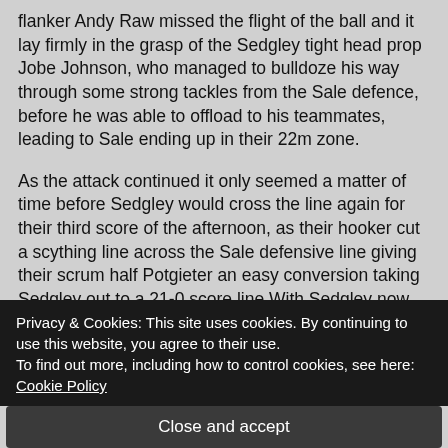flanker Andy Raw missed the flight of the ball and it lay firmly in the grasp of the Sedgley tight head prop Jobe Johnson, who managed to bulldoze his way through some strong tackles from the Sale defence, before he was able to offload to his teammates, leading to Sale ending up in their 22m zone.
As the attack continued it only seemed a matter of time before Sedgley would cross the line again for their third score of the afternoon, as their hooker cut a scything line across the Sale defensive line giving their scrum half Potgieter an easy conversion taking Sedgley out to a 21-0 score line.With Sedgley now firmly in the driving seat and
Privacy & Cookies: This site uses cookies. By continuing to use this website, you agree to their use.
To find out more, including how to control cookies, see here: Cookie Policy
Close and accept
attacks throughout the game that they charged at the Sale